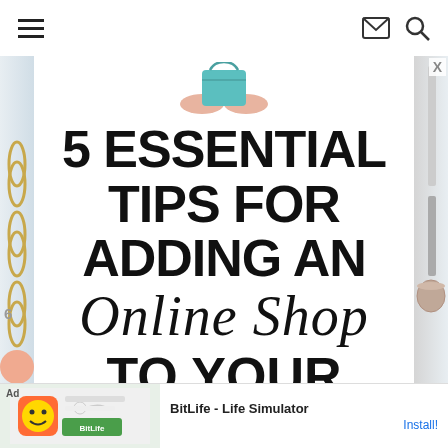Navigation header with hamburger menu, mail icon, and search icon
[Figure (illustration): Blog post cover image showing illustration of hands holding a teal/turquoise bag at top, decorative gold paper clips on left side, white background with large bold title text. Title reads: 5 ESSENTIAL TIPS FOR ADDING AN Online Shop TO YOUR BLOG]
5 ESSENTIAL TIPS FOR ADDING AN Online Shop TO YOUR BLOG
[Figure (screenshot): Ad banner at bottom: BitLife - Life Simulator app advertisement with Install button]